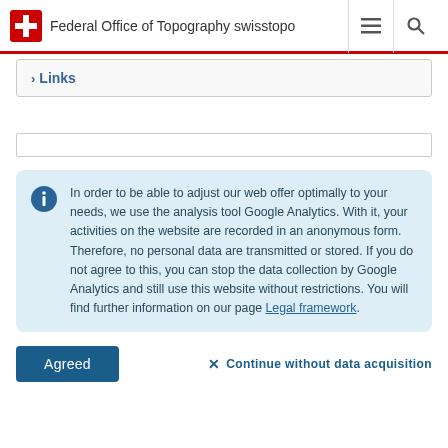Federal Office of Topography swisstopo
› Links
In order to be able to adjust our web offer optimally to your needs, we use the analysis tool Google Analytics. With it, your activities on the website are recorded in an anonymous form. Therefore, no personal data are transmitted or stored. If you do not agree to this, you can stop the data collection by Google Analytics and still use this website without restrictions. You will find further information on our page Legal framework.
Agreed
✕ Continue without data acquisition